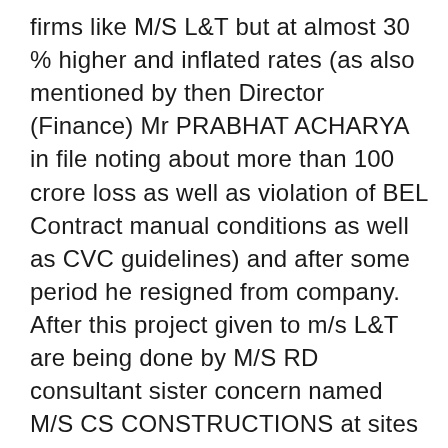firms like M/S L&T but at almost 30 % higher and inflated rates (as also mentioned by then Director (Finance) Mr PRABHAT ACHARYA in file noting about more than 100 crore loss as well as violation of BEL Contract manual conditions as well as CVC guidelines) and after some period he resigned from company. After this project given to m/s L&T are being done by M/S RD consultant sister concern named M/S CS CONSTRUCTIONS at sites ( even MD- Mr Rahul Baucher  of M/S CS Construction used to come to BEL-Ghaziabad unit  for regular review meeting on behalf of L&T) – A serious violation of CVC  guidelines as well contract conditions of BEL & M/S RD KONSUL) , which